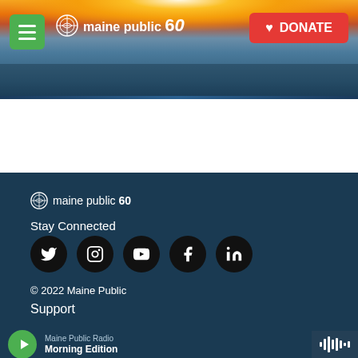[Figure (screenshot): Maine Public 60th anniversary website header with scenic sunset landscape background, hamburger menu button, Maine Public 60 logo, and red DONATE button]
[Figure (logo): Maine Public 60 anniversary logo in footer]
Stay Connected
[Figure (infographic): Social media icons row: Twitter, Instagram, YouTube, Facebook, LinkedIn - black circles with white icons]
© 2022 Maine Public
Support
Maine Public Radio Morning Edition